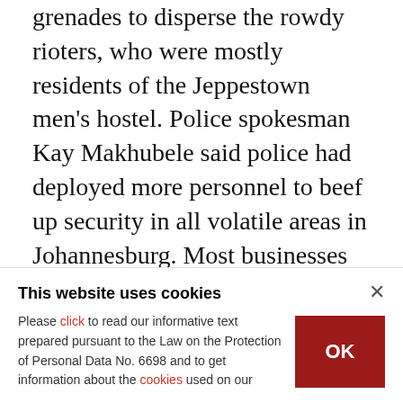grenades to disperse the rowdy rioters, who were mostly residents of the Jeppestown men's hostel. Police spokesman Kay Makhubele said police had deployed more personnel to beef up security in all volatile areas in Johannesburg. Most businesses remained closed on Sunday, with shopkeepers fearing being looted by rioters. The country has been rocked by a surge of attacks against businesses owned by migrants in the last week, leaving at least 10 dead and prompting protests from several African countries. South African...
This website uses cookies
Please click to read our informative text prepared pursuant to the Law on the Protection of Personal Data No. 6698 and to get information about the cookies used on our